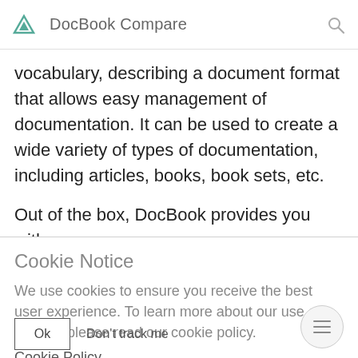DocBook Compare
vocabulary, describing a document format that allows easy management of documentation. It can be used to create a wide variety of types of documentation, including articles, books, book sets, etc.
Out of the box, DocBook provides you with a common
Cookie Notice
We use cookies to ensure you receive the best user experience. To learn more about our use of cookies please read our cookie policy.
Cookie Policy
Ok   Don't track me